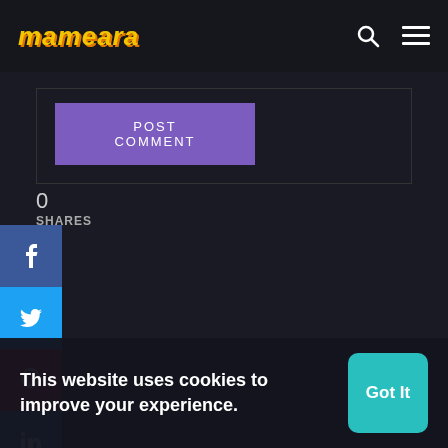mameara
POST COMMENT
0
SHARES
[Figure (screenshot): Social media sharing sidebar with Facebook (blue), Twitter (cyan), Pinterest (red), and LinkedIn (blue) buttons, each showing respective icons]
[Figure (logo): mameara logo in yellow italic bold text on dark background]
Hello, my name is Mahmoud Ameara the owner and founder of mameara.com It is a blog that I share w... graphic desig... and freebies.
This website uses cookies to improve your experience.